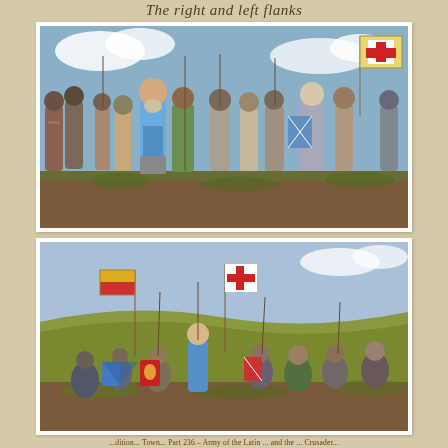The right and left flanks
[Figure (photo): Painted medieval miniature soldiers standing in a battle line, wearing chainmail and helmets, carrying spears and shields. A knight bearing a white flag with a red cross (Crusader/Templar) stands prominently on the right. A large bearded figure in blue tunic stands in the center.]
[Figure (photo): Painted medieval miniature soldiers in a battle group, kneeling and standing, carrying colorful shields decorated with heraldic symbols, spears and banners. A red and gold banner is visible on the left, and a white cross banner in the center.]
...dition... Town... Part 236 – Army of the Latin ... and the ... Crusader...